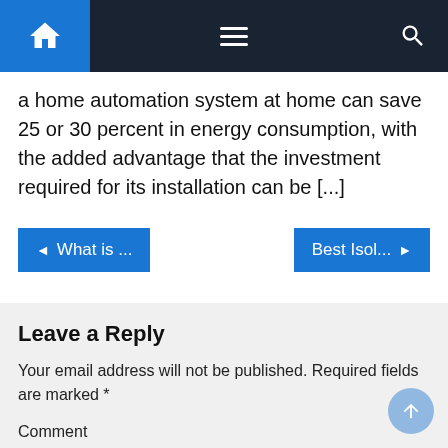Navigation bar with home, menu, and search icons
a home automation system at home can save 25 or 30 percent in energy consumption, with the added advantage that the investment required for its installation can be [...]
◄ What is ...   Best Isol... ►
Leave a Reply
Your email address will not be published. Required fields are marked *
Comment